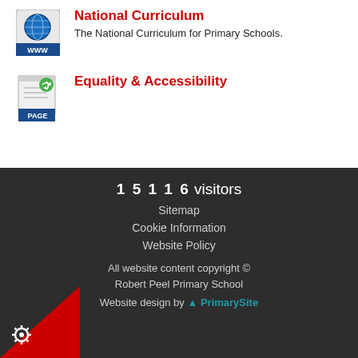National Curriculum — The National Curriculum for Primary Schools.
Equality & Accessibility
1 5 1 1 6 visitors
Sitemap
Cookie Information
Website Policy
All website content copyright © Robert Peel Primary School
Website design by PrimarySite